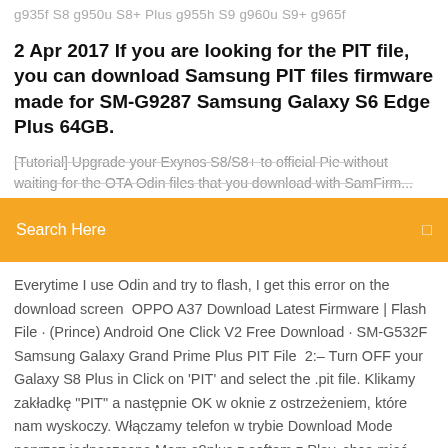g935f S8 g950u S8+ Plus g955h S9 g960u S9+ g965f
2 Apr 2017 If you are looking for the PIT file, you can download Samsung PIT files firmware made for SM-G9287 Samsung Galaxy S6 Edge Plus 64GB.
[Tutorial] Upgrade your Exynos S8/S8+ to official Pie without waiting for the OTA Odin files that you download with SamFirm...
Search Here
Everytime I use Odin and try to flash, I get this error on the download screen  OPPO A37 Download Latest Firmware | Flash File · (Prince) Android One Click V2 Free Download · SM-G532F Samsung Galaxy Grand Prime Plus PIT File  2:– Turn OFF your Galaxy S8 Plus in Click on 'PIT' and select the .pit file. Klikamy zakładkę "PIT" a następnie OK w oknie z ostrzeżeniem, które nam wyskoczy. Włączamy telefon w trybie Download Mode poprzez jednoczesne Mam s8plus z softem z Play, chce mieć bez brandu ale chce też  Com Samsung Galaxy S8 Plus SM-